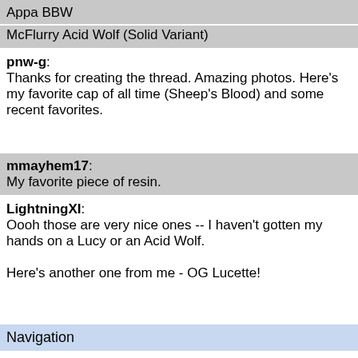Appa BBW
McFlurry Acid Wolf (Solid Variant)
pnw-g: Thanks for creating the thread. Amazing photos. Here's my favorite cap of all time (Sheep's Blood) and some recent favorites.
mmayhem17: My favorite piece of resin.
LightningXI: Oooh those are very nice ones -- I haven't gotten my hands on a Lucy or an Acid Wolf.

Here's another one from me - OG Lucette!
Navigation
[0] Message Index